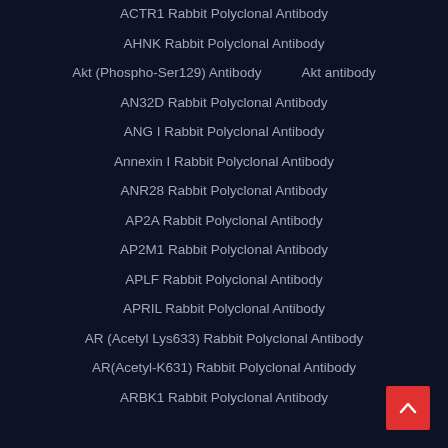ACTR1 Rabbit Polyclonal Antibody
AHNK Rabbit Polyclonal Antibody
Akt (Phospho-Ser129) Antibody    Akt antibody
AN32D Rabbit Polyclonal Antibody
ANG I Rabbit Polyclonal Antibody
Annexin I Rabbit Polyclonal Antibody
ANR28 Rabbit Polyclonal Antibody
AP2A Rabbit Polyclonal Antibody
AP2M1 Rabbit Polyclonal Antibody
APLF Rabbit Polyclonal Antibody
APRIL Rabbit Polyclonal Antibody
AR (Acetyl Lys633) Rabbit Polyclonal Antibody
AR(Acetyl-K631) Rabbit Polyclonal Antibody
ARBK1 Rabbit Polyclonal Antibody